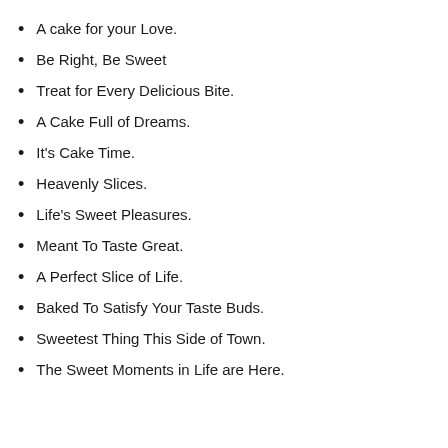A cake for your Love.
Be Right, Be Sweet
Treat for Every Delicious Bite.
A Cake Full of Dreams.
It's Cake Time.
Heavenly Slices.
Life's Sweet Pleasures.
Meant To Taste Great.
A Perfect Slice of Life.
Baked To Satisfy Your Taste Buds.
Sweetest Thing This Side of Town.
The Sweet Moments in Life are Here.